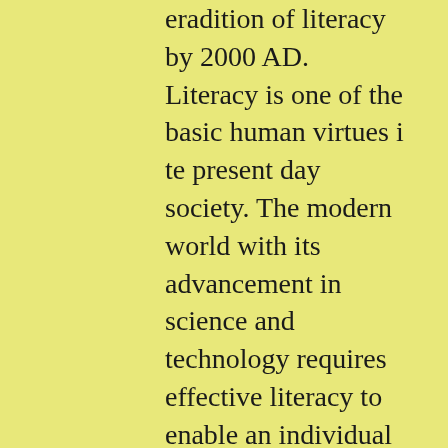eradition of literacy by 2000 AD. Literacy is one of the basic human virtues i te present day society. The modern world with its advancement in science and technology requires effective literacy to enable an individual to meaningfully participate in the society. Only a literate individual can keep pace with fast changing socio-economic situation. Equality of human rights can be fullyachieved only when there is mass literacy. In a developing economy like India the need for mass literacy is even